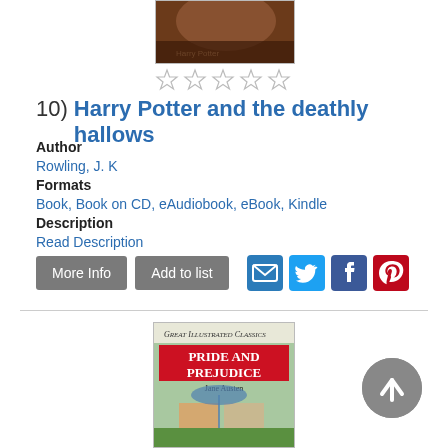[Figure (photo): Book cover of Harry Potter and the Deathly Hallows – dark hair/partial face visible]
[Figure (other): Five empty star rating icons]
10)  Harry Potter and the deathly hallows
Author
Rowling, J. K
Formats
Book, Book on CD, eAudiobook, eBook, Kindle
Description
Read Description
[Figure (screenshot): Buttons: More Info, Add to list, and social sharing icons (email, Twitter, Facebook, Pinterest)]
[Figure (photo): Book cover: Great Illustrated Classics – Pride and Prejudice by Jane Austen, showing two women under an umbrella]
[Figure (other): Back to top arrow button (grey circle with upward arrow)]